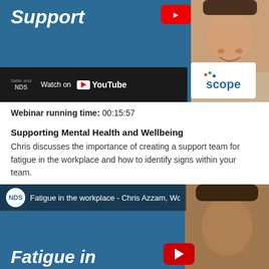[Figure (screenshot): YouTube video thumbnail showing a webinar about support, with NDS and Scope logos and a Watch on YouTube bar. Blue background with italic bold white text 'Support' and a person visible on the right side.]
Webinar running time: 00:15:57
Supporting Mental Health and Wellbeing
Chris discusses the importance of creating a support team for fatigue in the workplace and how to identify signs within your team.
[Figure (screenshot): YouTube video thumbnail for 'Fatigue in the workplace - Chris Azzam, Works...' with NDS logo, blue background, italic bold white text 'Fatigue in', a red play button, and a person visible on the right side.]